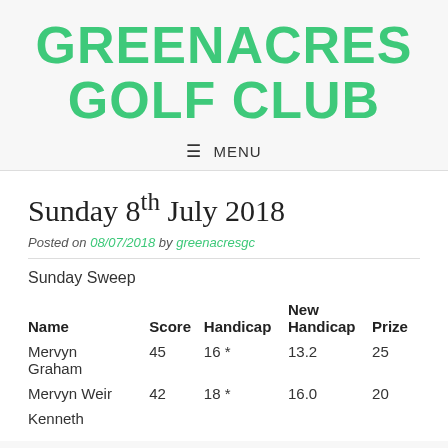GREENACRES GOLF CLUB
≡ MENU
Sunday 8th July 2018
Posted on 08/07/2018 by greenacresgc
Sunday Sweep
| Name | Score | Handicap | New Handicap | Prize |
| --- | --- | --- | --- | --- |
| Mervyn Graham | 45 | 16 * | 13.2 | 25 |
| Mervyn Weir | 42 | 18 * | 16.0 | 20 |
| Kenneth |  |  |  |  |